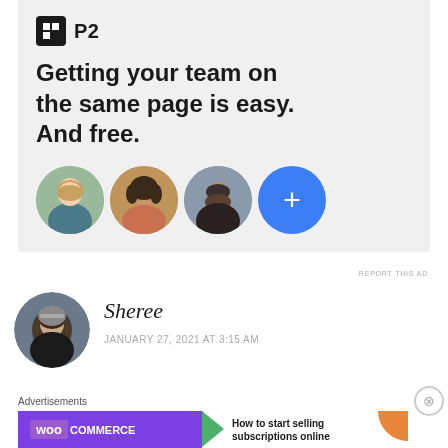[Figure (screenshot): P2 advertisement banner with logo, tagline 'Getting your team on the same page is easy. And free.' and three user avatar circles plus a blue plus button]
REPORT THIS AD
[Figure (photo): Circular user avatar photo of a person wearing a cycling helmet]
Sheree
JANUARY 27, 2021 AT 3:15 AM
Advertisements
[Figure (screenshot): WooCommerce advertisement banner with logo and text 'How to start selling subscriptions online']